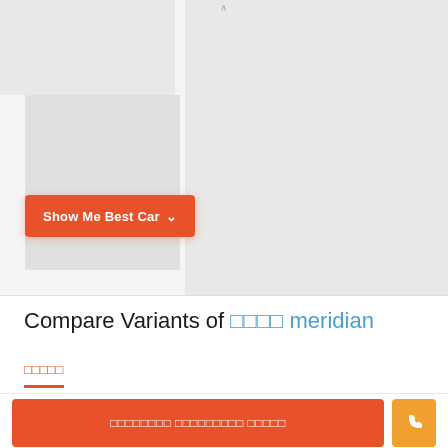[Figure (screenshot): Screenshot of a car comparison website UI showing gray placeholder rectangles for car images]
Show Me Best Car ∨
Compare Variants of □□□□ meridian
□□□□□
□□□□□□□□ □□□□□□□□□ □□□□□